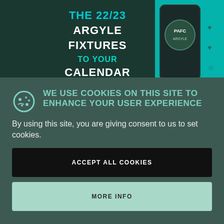[Figure (screenshot): Plymouth Argyle FC promotional banner showing text 'THE 22/23 ARGYLE FIXTURES TO YOUR CALENDAR' with a smartphone displaying PAFC badge on teal/dark green background]
WE USE COOKIES ON THIS SITE TO ENHANCE YOUR USER EXPERIENCE
By using this site, you are giving consent to us to set cookies.
ACCEPT ALL COOKIES
MORE INFO